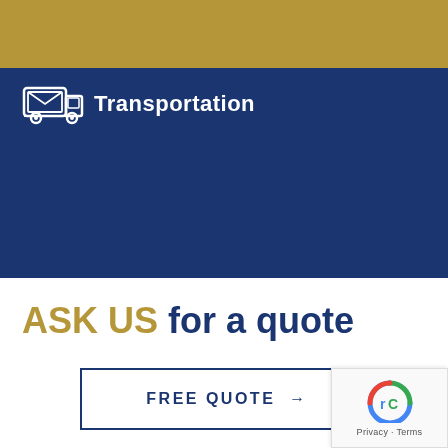Transportation
ASK US for a quote
FREE QUOTE →